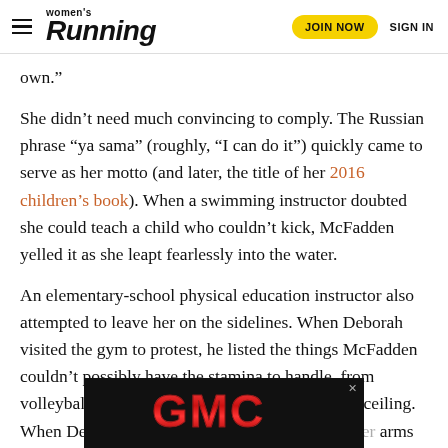Women's Running | JOIN NOW | SIGN IN
own.”
She didn’t need much convincing to comply. The Russian phrase “ya sama” (roughly, “I can do it”) quickly came to serve as her motto (and later, the title of her 2016 children’s book). When a swimming instructor doubted she could teach a child who couldn’t kick, McFadden yelled it as she leapt fearlessly into the water.
An elementary-school physical education instructor also attempted to leave her on the sidelines. When Deborah visited the gym to protest, he listed the things McFadden couldn’t possibly have the stamina to handle, from volleyball to kickball to a rope hanging from the ceiling. When Deborah pointed to it, her da… arms to pull hers…
[Figure (logo): GMC logo advertisement overlay at bottom of page, white GMC lettering on black background]